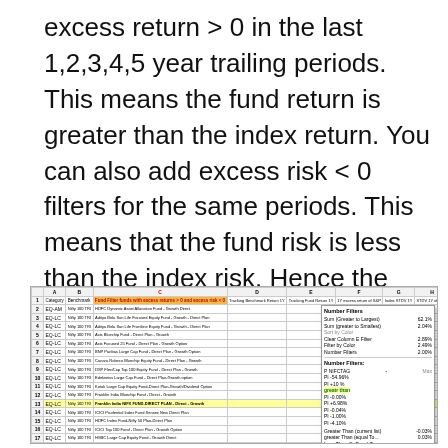excess return > 0 in the last 1,2,3,4,5 year trailing periods. This means the fund return is greater than the index return. You can also add excess risk < 0 filters for the same periods. This means that the fund risk is less than the index risk. Hence the excess risk is negative. Both screenshots are shown below.
[Figure (screenshot): Screenshot of a spreadsheet showing fund filter with excess returns > 0 and excess risk < 0, with columns for Category, Benchmark, Fund, Tracking Benchmark Return, Tracking Fund Return 1Y, 1Y Excess Return of S&P, Index STDV 1Y, STDV 1Y of Fund, 1Y Excess Risk of Fund. Multiple rows of fund data are visible with a popup dialog box showing filter options and statistics panel.]